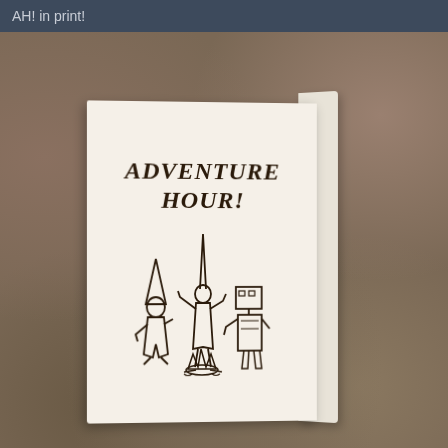AH! in print!
[Figure (photo): Sepia-toned photograph of a small zine/booklet titled 'ADVENTURE HOUR!' with cartoon illustrations of three characters around a campfire, propped against rocks outdoors.]